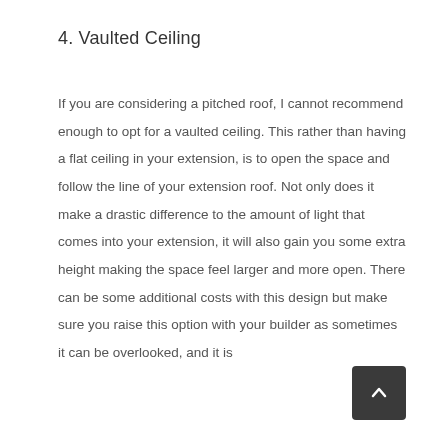4. Vaulted Ceiling
If you are considering a pitched roof, I cannot recommend enough to opt for a vaulted ceiling. This rather than having a flat ceiling in your extension, is to open the space and follow the line of your extension roof. Not only does it make a drastic difference to the amount of light that comes into your extension, it will also gain you some extra height making the space feel larger and more open. There can be some additional costs with this design but make sure you raise this option with your builder as sometimes it can be overlooked, and it is